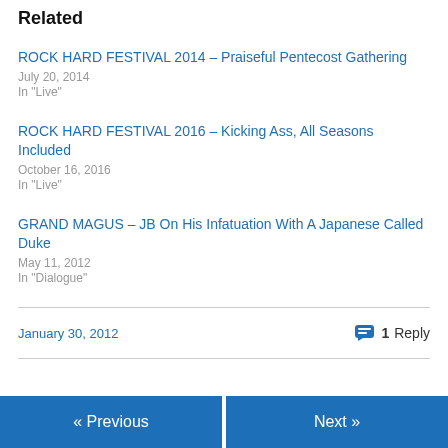Related
ROCK HARD FESTIVAL 2014 – Praiseful Pentecost Gathering
July 20, 2014
In "Live"
ROCK HARD FESTIVAL 2016 – Kicking Ass, All Seasons Included
October 16, 2016
In "Live"
GRAND MAGUS – JB On His Infatuation With A Japanese Called Duke
May 11, 2012
In "Dialogue"
January 30, 2012    1 Reply
« Previous    Next »